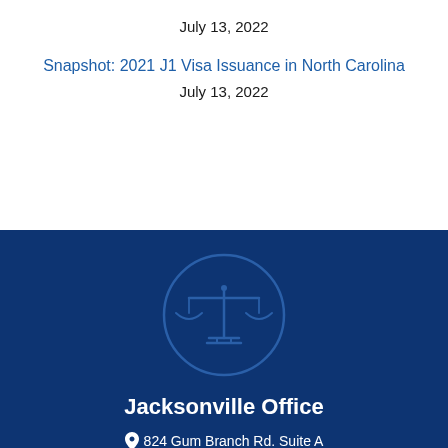July 13, 2022
Snapshot: 2021 J1 Visa Issuance in North Carolina
July 13, 2022
[Figure (logo): Scales of justice icon in a circle outline, rendered in a lighter blue on dark blue background]
Jacksonville Office
824 Gum Branch Rd. Suite A
Jacksonville, NC 28540
(910) 526-0066